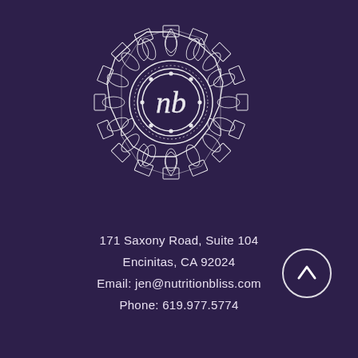[Figure (logo): Circular mandala/lotus logo with 'nb' monogram in the center, white line art on dark purple background]
171 Saxony Road, Suite 104
Encinitas, CA 92024
Email: jen@nutritionbliss.com
Phone: 619.977.5774